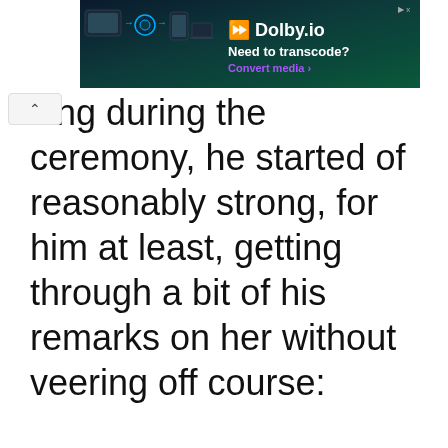[Figure (other): Dolby.io advertisement banner with dark teal gradient background, Dolby logo, tagline 'Need to transcode?' and 'Convert media >' CTA link]
...king during the ceremony, he started of reasonably strong, for him at least, getting through a bit of his remarks on her without veering off course: